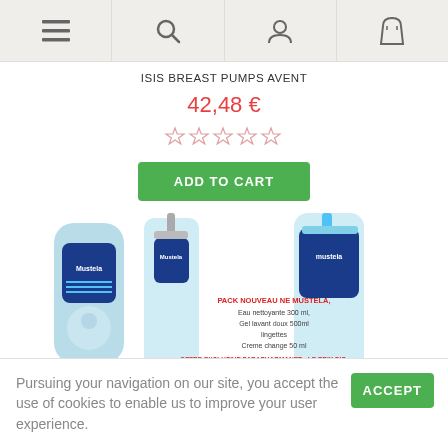Navigation bar with menu, search, user, and cart icons
ISIS BREAST PUMPS AVENT
42,48 €
[Figure (other): Five empty star rating icons]
ADD TO CART
[Figure (photo): Mustela baby product set including bottles and pump dispensers with French promotional text: PACK NOUVEAU NE MUSTELA, Eau nettoyante 300 ml, Gel lavant doux 500ml, lingettes, Creme change 50 ml, OFFRE EXCLUSIVE PARAPHARMANET : LE PRIX DIS-COUNT]
Pursuing your navigation on our site, you accept the use of cookies to enable us to improve your user experience.
ACCEPT